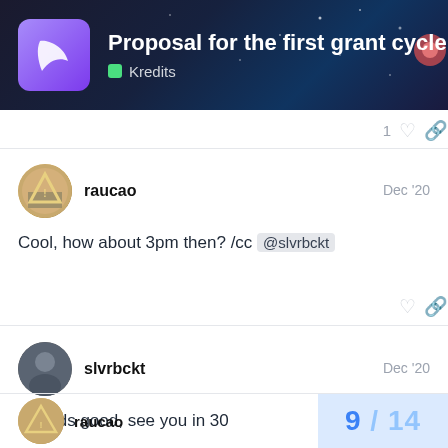Proposal for the first grant cycle — Kredits
Cool, how about 3pm then? /cc @slvrbckt
Sounds good, see you in 30
raucao  9 / 14